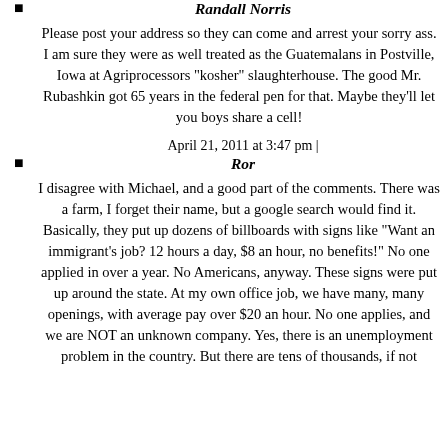Randall Norris
Please post your address so they can come and arrest your sorry ass. I am sure they were as well treated as the Guatemalans in Postville, Iowa at Agriprocessors "kosher" slaughterhouse. The good Mr. Rubashkin got 65 years in the federal pen for that. Maybe they'll let you boys share a cell!
April 21, 2011 at 3:47 pm |
Ror
I disagree with Michael, and a good part of the comments. There was a farm, I forget their name, but a google search would find it. Basically, they put up dozens of billboards with signs like "Want an immigrant's job? 12 hours a day, $8 an hour, no benefits!" No one applied in over a year. No Americans, anyway. These signs were put up around the state. At my own office job, we have many, many openings, with average pay over $20 an hour. No one applies, and we are NOT an unknown company. Yes, there is an unemployment problem in the country. But there are tens of thousands, if not